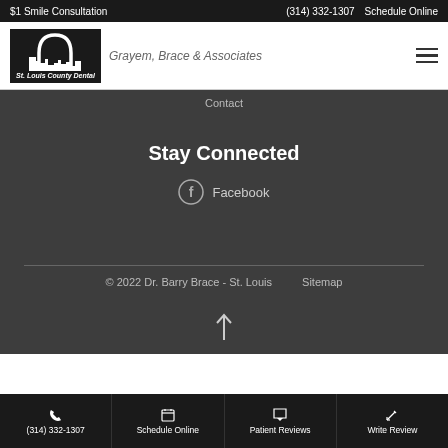$1 Smile Consultation | (314) 332-1307 | Schedule Online
[Figure (logo): St. Louis County Dental logo with arch and skyline, Grayem, Brace & Associates]
Contact
Stay Connected
Facebook
© 2022 Dr. Barry Brace - St. Louis   Sitemap
(314) 332-1307 | Schedule Online | Patient Reviews | Write Review